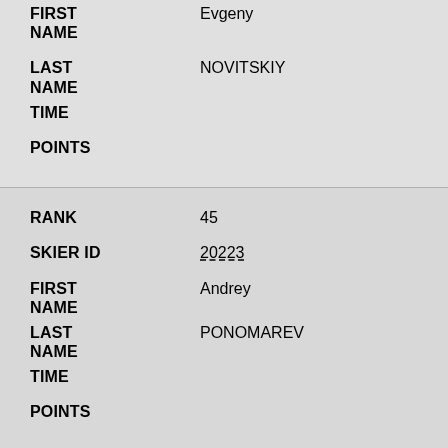| FIELD | VALUE |
| --- | --- |
| FIRST NAME | Evgeny |
| LAST NAME | NOVITSKIY |
| TIME |  |
| POINTS |  |
| FIELD | VALUE |
| --- | --- |
| RANK | 45 |
| SKIER ID | 20223 |
| FIRST NAME | Andrey |
| LAST NAME | PONOMAREV |
| TIME |  |
| POINTS |  |